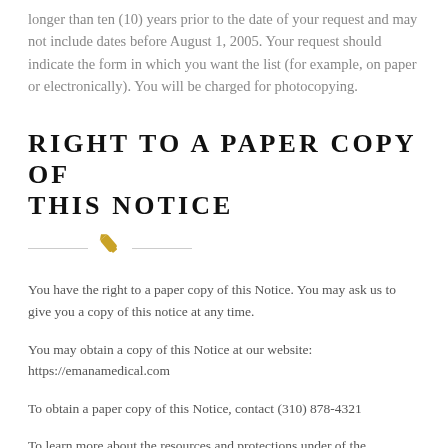longer than ten (10) years prior to the date of your request and may not include dates before August 1, 2005. Your request should indicate the form in which you want the list (for example, on paper or electronically). You will be charged for photocopying.
RIGHT TO A PAPER COPY OF THIS NOTICE
You have the right to a paper copy of this Notice. You may ask us to give you a copy of this notice at any time.
You may obtain a copy of this Notice at our website:
https://emanamedical.com
To obtain a paper copy of this Notice, contact (310) 878-4321
To learn more about the resources and protections under of the